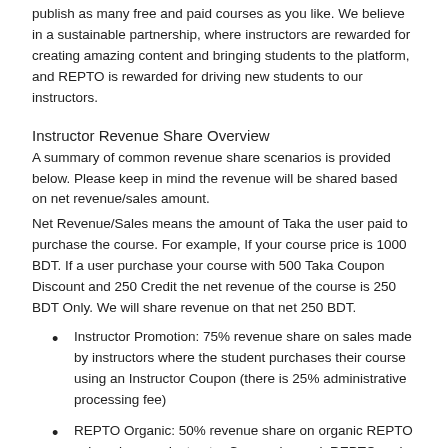publish as many free and paid courses as you like. We believe in a sustainable partnership, where instructors are rewarded for creating amazing content and bringing students to the platform, and REPTO is rewarded for driving new students to our instructors.
Instructor Revenue Share Overview
A summary of common revenue share scenarios is provided below. Please keep in mind the revenue will be shared based on net revenue/sales amount.
Net Revenue/Sales means the amount of Taka the user paid to purchase the course. For example, If your course price is 1000 BDT. If a user purchase your course with 500 Taka Coupon Discount and 250 Credit the net revenue of the course is 250 BDT Only. We will share revenue on that net 250 BDT.
Instructor Promotion: 75% revenue share on sales made by instructors where the student purchases their course using an Instructor Coupon (there is 25% administrative processing fee)
REPTO Organic: 50% revenue share on organic REPTO sales where no Instructor Coupon is used. REPTO and the instructor share equally on these sales, which might occur after a user browses the REPTO marketplace for courses and makes a purchase.